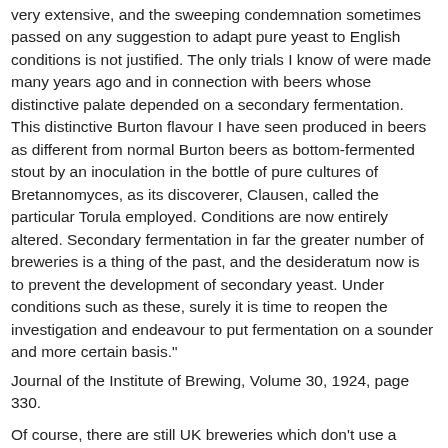very extensive, and the sweeping condemnation sometimes passed on any suggestion to adapt pure yeast to English conditions is not justified. The only trials I know of were made many years ago and in connection with beers whose distinctive palate depended on a secondary fermentation. This distinctive Burton flavour I have seen produced in beers as different from normal Burton beers as bottom-fermented stout by an inoculation in the bottle of pure cultures of Bretannomyces, as its discoverer, Clausen, called the particular Torula employed. Conditions are now entirely altered. Secondary fermentation in far the greater number of breweries is a thing of the past, and the desideratum now is to prevent the development of secondary yeast. Under conditions such as these, surely it is time to reopen the investigation and endeavour to put fermentation on a sounder and more certain basis."
Journal of the Institute of Brewing, Volume 30, 1924, page 330.
Of course, there are still UK breweries which don't use a